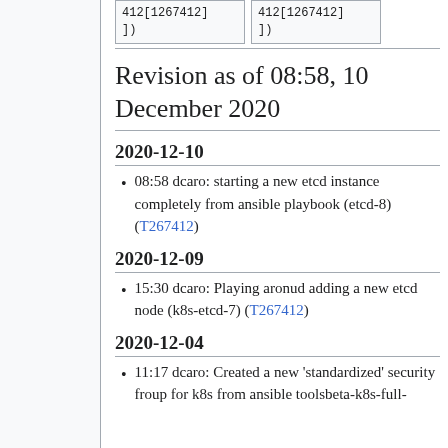412[1267412]
])
412[1267412]
])
Revision as of 08:58, 10 December 2020
2020-12-10
08:58 dcaro: starting a new etcd instance completely from ansible playbook (etcd-8) (T267412)
2020-12-09
15:30 dcaro: Playing aronud adding a new etcd node (k8s-etcd-7) (T267412)
2020-12-04
11:17 dcaro: Created a new 'standardized' security froup for k8s from ansible toolsbeta-k8s-full-